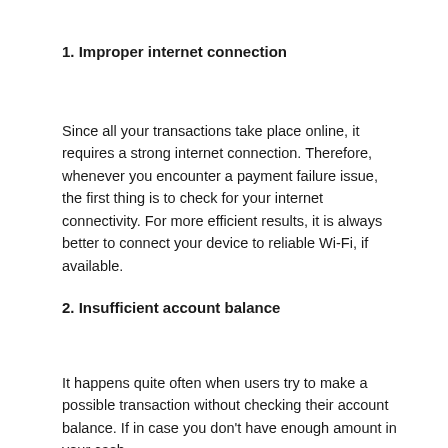1. Improper internet connection
Since all your transactions take place online, it requires a strong internet connection. Therefore, whenever you encounter a payment failure issue, the first thing is to check for your internet connectivity. For more efficient results, it is always better to connect your device to reliable Wi-Fi, if available.
2. Insufficient account balance
It happens quite often when users try to make a possible transaction without checking their account balance. If in case you don't have enough amount in your cash